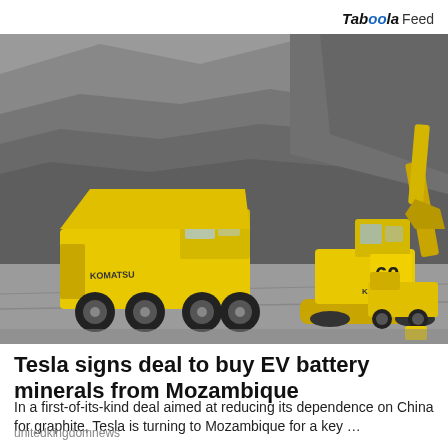Taboola Feed
[Figure (photo): Large yellow Komatsu mining dump trucks and excavator in an open-pit mine with rocky terrain and grey mountains in the background. The large excavator has '60 KOMATSU' written on it.]
Tesla signs deal to buy EV battery minerals from Mozambique
In a first-of-its-kind deal aimed at reducing its dependence on China for graphite, Tesla is turning to Mozambique for a key …
unitedkingdomnews